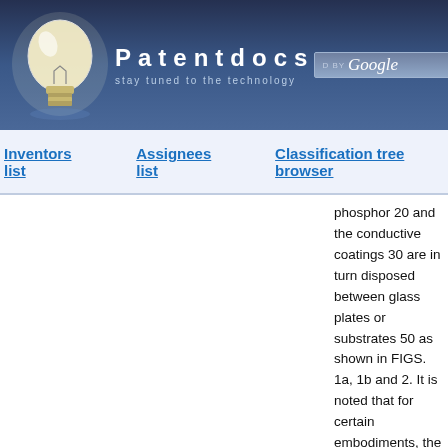Patentdocs — stay tuned to the technology
Inventors list
Assignees list
Classification tree browser
phosphor 20 and the conductive coatings 30 are in turn disposed between glass plates or substrates 50 as shown in FIGS. 1a, 1b and 2. It is noted that for certain embodiments, the associated phosphors may be organic or inorganic. Ultraviolet (UV) radiation 60 from a UV light source 70 such as an LED impinging on the phosphor excites the phosphor 20 to emit light 80 of its own frequency.
[0014]As shown in FIGS. 1a and 1b, UV light 60 is projected at the phosphor 20 from behind through